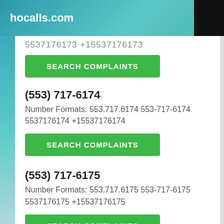hocalls.com
5537176173 +15537176173
SEARCH COMPLAINTS
(553) 717-6174
Number Formats: 553.717.6174 553-717-6174 5537176174 +15537176174
SEARCH COMPLAINTS
(553) 717-6175
Number Formats: 553.717.6175 553-717-6175 5537176175 +15537176175
SEARCH COMPLAINTS
(553) 717-6176
Number Formats: 553.717.6176 553-717-6176 5537176176 +15537176176